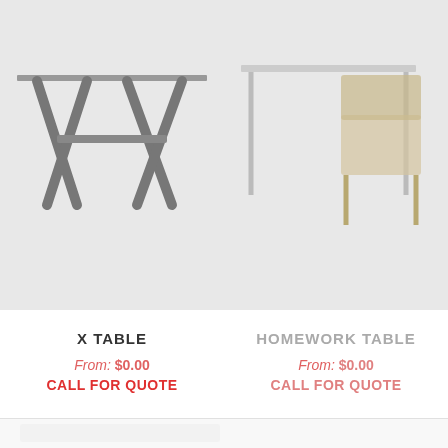[Figure (photo): X Table product photo on light gray background - a modern table with X-shaped crossed legs in dark gray metal]
[Figure (photo): Homework Table product photo on light gray background - a white desk with thin legs and a wooden chair beside it]
X TABLE
From: $0.00
CALL FOR QUOTE
HOMEWORK TABLE
From: $0.00
CALL FOR QUOTE
[Figure (photo): Partial product image visible at bottom of page - faint outline of furniture on white background]